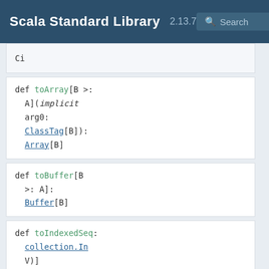Scala Standard Library 2.13.7 Search
Ci
def toArray[B >: A](implicit arg0: ClassTag[B]): Array[B]
def toBuffer[B >: A]: Buffer[B]
def toIndexedSeq: collection.In V)]
def toIterable: collection.It V)]
def toIterable: ListMap.this.
def toIterator: Iterator[(K,